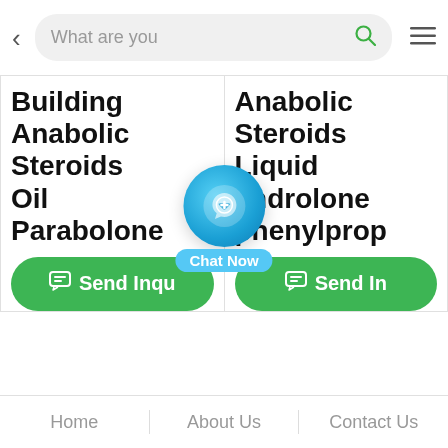[Figure (screenshot): Mobile app/website screenshot showing a search bar at top with placeholder 'What are you', a green search icon, and a hamburger menu icon. Below are two product cards with bold text: left card shows 'Building Anabolic Steroids Oil Parabolone' and right card shows 'Anabolic Steroids Liquid androlone phenylprop'. Each card has a green 'Send Inqu...' button. A 'Chat Now' floating button overlays the center. Bottom navigation bar shows Home, About Us, Contact Us.]